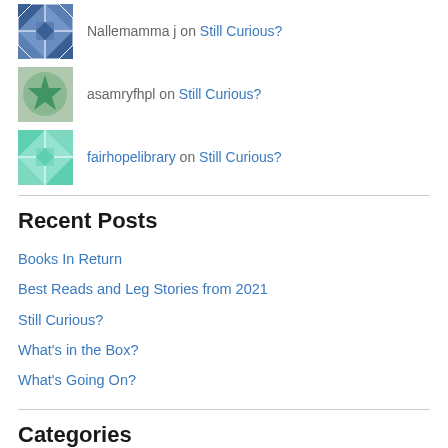Nallemamma j on Still Curious?
asamryfhpl on Still Curious?
fairhopelibrary on Still Curious?
Recent Posts
Books In Return
Best Reads and Leg Stories from 2021
Still Curious?
What's in the Box?
What's Going On?
Categories